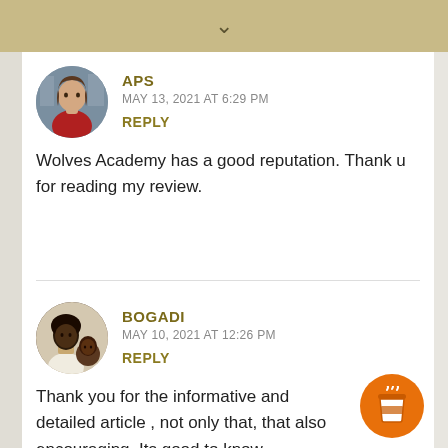APS
MAY 13, 2021 AT 6:29 PM
REPLY
Wolves Academy has a good reputation. Thank u for reading my review.
BOGADI
MAY 10, 2021 AT 12:26 PM
REPLY
Thank you for the informative and detailed article , not only that, that also encouraging. Its good to know